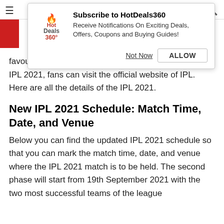HotDeals360 - Subscribe popup
[Figure (screenshot): HotDeals360 browser notification popup with logo, title 'Subscribe to HotDeals360', description text, and Not Now / ALLOW buttons]
favourites of this year's IPL. For more details on the IPL 2021, fans can visit the official website of IPL. Here are all the details of the IPL 2021.
New IPL 2021 Schedule: Match Time, Date, and Venue
Below you can find the updated IPL 2021 schedule so that you can mark the match time, date, and venue where the IPL 2021 match is to be held. The second phase will start from 19th September 2021 with the two most successful teams of the league